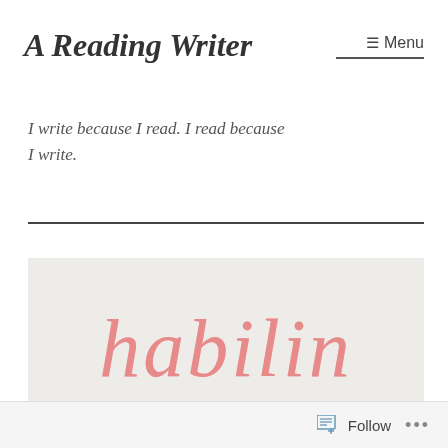A Reading Writer
Menu
I write because I read. I read because I write.
[Figure (photo): Calligraphic word 'habilin' written in pink/red watercolor script on a light grey paper background]
Follow ...